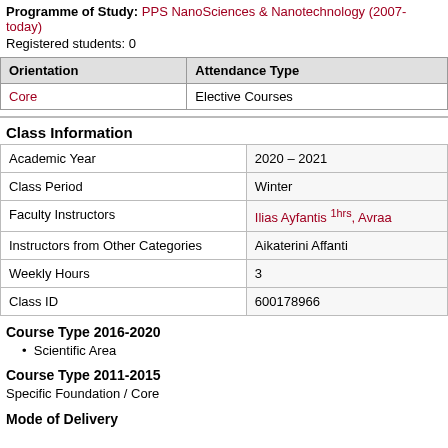Programme of Study: PPS NanoSciences & Nanotechnology (2007-today)
Registered students: 0
| Orientation | Attendance Type |
| --- | --- |
| Core | Elective Courses |
Class Information
| Academic Year | 2020 – 2021 |
| Class Period | Winter |
| Faculty Instructors | Ilias Ayfantis 1hrs, Avraa... |
| Instructors from Other Categories | Aikaterini Affanti |
| Weekly Hours | 3 |
| Class ID | 600178966 |
Course Type 2016-2020
Scientific Area
Course Type 2011-2015
Specific Foundation / Core
Mode of Delivery